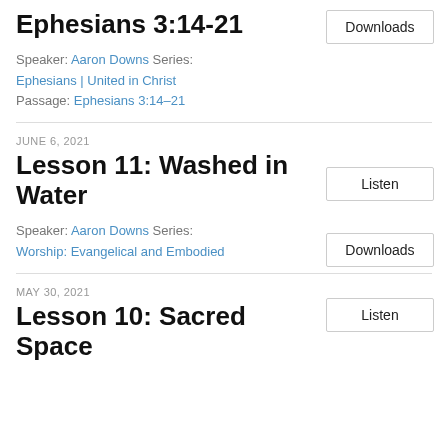Ephesians 3:14-21
Speaker: Aaron Downs Series: Ephesians | United in Christ
Passage: Ephesians 3:14–21
JUNE 6, 2021
Lesson 11: Washed in Water
Speaker: Aaron Downs Series: Worship: Evangelical and Embodied
MAY 30, 2021
Lesson 10: Sacred Space